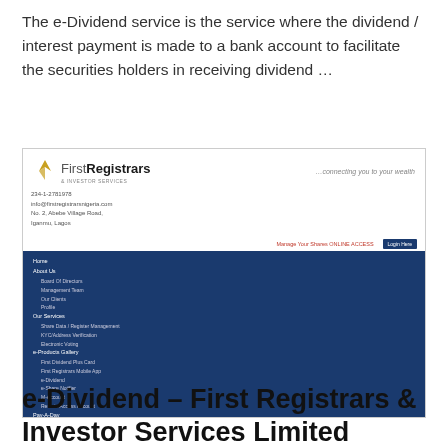The e-Dividend service is the service where the dividend / interest payment is made to a bank account to facilitate the securities holders in receiving dividend …
[Figure (screenshot): Screenshot of the First Registrars & Investor Services Limited website showing logo, contact details, navigation menu on dark blue background with menu items including Home, About Us, Board of Directors, Our Clients, Profile, Our Services, Share Data, Register Management, KYC/Address Verification, Electronic Voting, e-Products Gallery, First Dividend Plus Card, First Registrars Mobile App, e-Dividend, e-Share Notifier, M-Account, Remote Access Account, Pay-A-Day, Knowledge Hub]
e-Dividend – First Registrars & Investor Services Limited